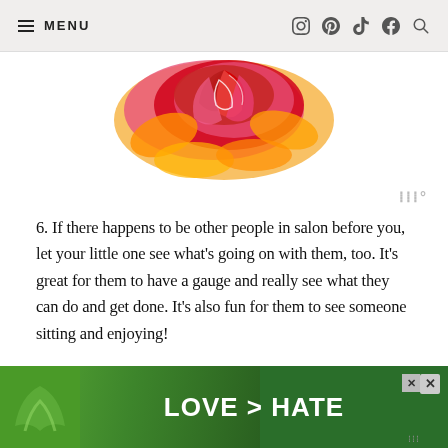MENU | social icons: Instagram, Pinterest, TikTok, Facebook, Search
[Figure (illustration): Colorful decorative illustration of a rose with swirling pink, red, and orange patterns on a white background, cropped at top]
6. If there happens to be other people in salon before you, let your little one see what’s going on with them, too. It’s great for them to have a gauge and really see what they can do and get done. It’s also fun for them to see someone sitting and enjoying!
7. Talk to your little girl throughout the haircut. It’s fun for them to know that you’re there, too. I took a ton of photos with her (obviously). I liked along, giving and va... [cut off] ...ot maybe